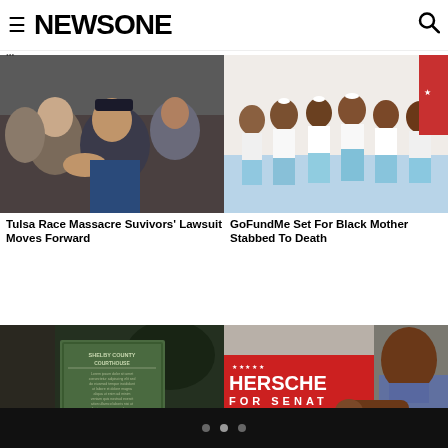NEWSONE
[Figure (photo): Two elderly people shaking hands at the Tulsa Race Massacre survivors event]
Tulsa Race Massacre Suvivors' Lawsuit Moves Forward
[Figure (photo): Group of young Black girls and women in white and light blue outfits posing for a photo]
GoFundMe Set For Black Mother Stabbed To Death
[Figure (photo): Shelby County Courthouse historical marker sign at night]
[Figure (photo): Herschel Walker at a campaign event with 'Herschel For Senate' banner behind him]